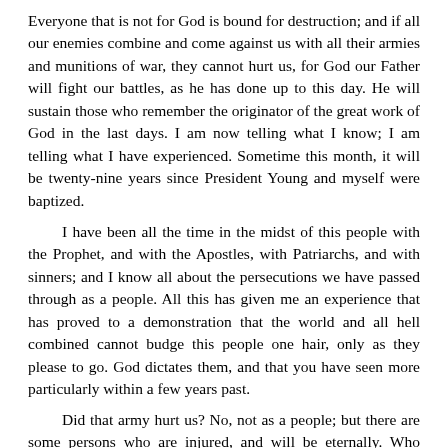Everyone that is not for God is bound for destruction; and if all our enemies combine and come against us with all their armies and munitions of war, they cannot hurt us, for God our Father will fight our battles, as he has done up to this day. He will sustain those who remember the originator of the great work of God in the last days. I am now telling what I know; I am telling what I have experienced. Sometime this month, it will be twenty-nine years since President Young and myself were baptized.
I have been all the time in the midst of this people with the Prophet, and with the Apostles, with Patriarchs, and with sinners; and I know all about the persecutions we have passed through as a people. All this has given me an experience that has proved to a demonstration that the world and all hell combined cannot budge this people one hair, only as they please to go. God dictates them, and that you have seen more particularly within a few years past.
Did that army hurt us? No, not as a people; but there are some persons who are injured, and will be eternally. Who injured them, the army? No: they did it themselves; they fostered the enemy that would have destroyed this whole